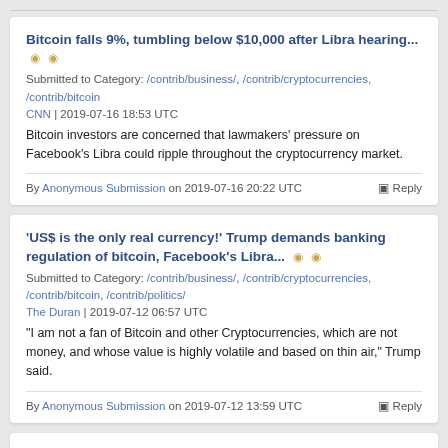Bitcoin falls 9%, tumbling below $10,000 after Libra hearing...
Submitted to Category: /contrib/business/, /contrib/cryptocurrencies, /contrib/bitcoin
CNN | 2019-07-16 18:53 UTC
Bitcoin investors are concerned that lawmakers' pressure on Facebook's Libra could ripple throughout the cryptocurrency market.
By Anonymous Submission on 2019-07-16 20:22 UTC   Reply
'US$ is the only real currency!' Trump demands banking regulation of bitcoin, Facebook's Libra...
Submitted to Category: /contrib/business/, /contrib/cryptocurrencies, /contrib/bitcoin, /contrib/politics/
The Duran | 2019-07-12 06:57 UTC
"I am not a fan of Bitcoin and other Cryptocurrencies, which are not money, and whose value is highly volatile and based on thin air," Trump said.
By Anonymous Submission on 2019-07-12 13:59 UTC   Reply
Newsflash: Bitcoin Price Crashes Below $11,000 to Cap 20% Plunge | CCN Markets...
Submitted to Category: /contrib/business/, /contrib/cryptocurrencies,